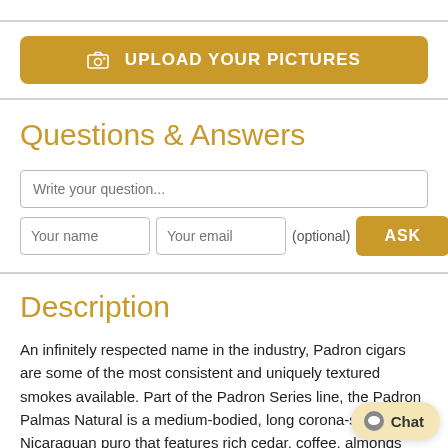[Figure (screenshot): Upload your pictures button — gold/amber colored button with camera icon]
Questions & Answers
Write your question...
Your name | Your email | (optional) | ASK
Description
An infinitely respected name in the industry, Padron cigars are some of the most consistent and uniquely textured smokes available. Part of the Padron Series line, the Padron Palmas Natural is a medium-bodied, long corona-sized Nicaraguan puro that features rich cedar, coffee, almonds and pepper. With premium taste and construction at an extremely affordable price...